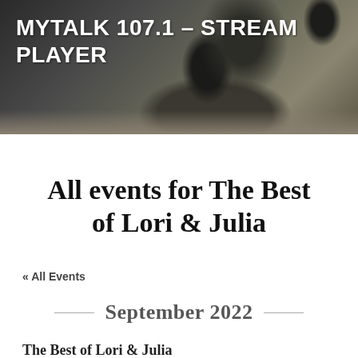[Figure (photo): Header image showing dark potted plants on a wooden surface with a dark background, with white bold text overlay reading MYTALK 107.1 – STREAM PLAYER]
All events for The Best of Lori & Julia
« All Events
September 2022
The Best of Lori & Julia